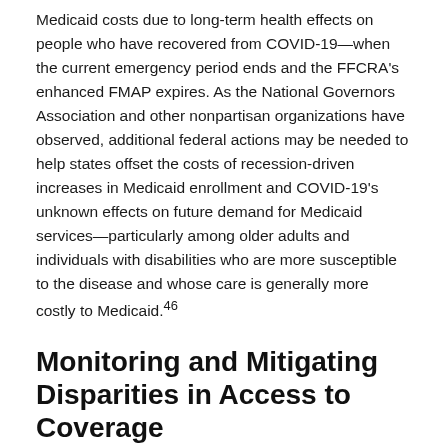Medicaid costs due to long-term health effects on people who have recovered from COVID-19—when the current emergency period ends and the FFCRA's enhanced FMAP expires. As the National Governors Association and other nonpartisan organizations have observed, additional federal actions may be needed to help states offset the costs of recession-driven increases in Medicaid enrollment and COVID-19's unknown effects on future demand for Medicaid services—particularly among older adults and individuals with disabilities who are more susceptible to the disease and whose care is generally more costly to Medicaid.46
Monitoring and Mitigating Disparities in Access to Coverage
Although New York has taken steps to broadly facilitate access to health coverage during the COVID-19 crisis,